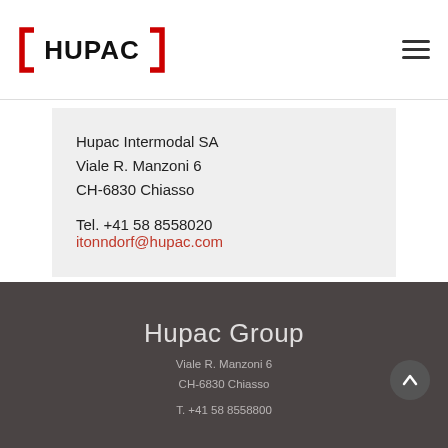HUPAC logo and navigation
Hupac Intermodal SA
Viale R. Manzoni 6
CH-6830 Chiasso

Tel. +41 58 8558020
itonndorf@hupac.com
Hupac Group
Viale R. Manzoni 6
CH-6830 Chiasso

T. +41 58 8558800